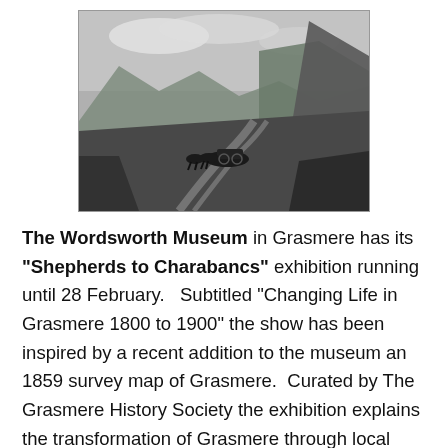[Figure (photo): Black and white historical photograph of a horse-drawn carriage or charabanc travelling along a rural road through a valley with hills and mountains in the background, likely in the Lake District near Grasmere.]
The Wordsworth Museum in Grasmere has its "Shepherds to Charabancs" exhibition running until 28 February. Subtitled "Changing Life in Grasmere 1800 to 1900" the show has been inspired by a recent addition to the museum an 1859 survey map of Grasmere. Curated by The Grasmere History Society the exhibition explains the transformation of Grasmere through local stories and brought alive with objects belonging to local residents as well as maps, artefacts and images from the